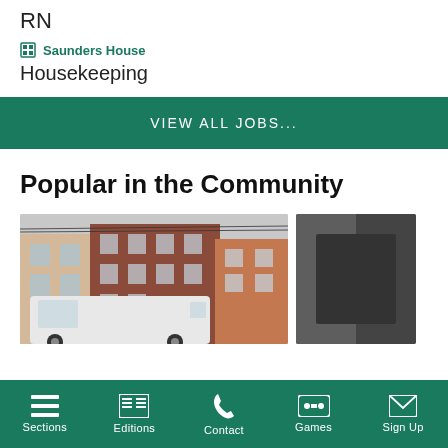RN
Saunders House
Housekeeping
VIEW ALL JOBS...
Popular in the Community
[Figure (photo): Street scene with row houses and a white van or truck in the foreground]
[Figure (photo): Partially visible dark-colored image, appears to be a close-up of an object]
Sections | Editions | Contact | Games | Sign Up